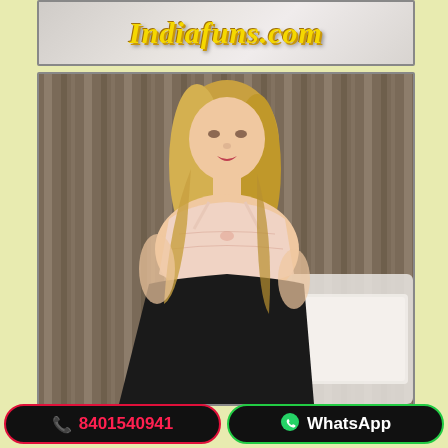[Figure (photo): Website logo banner for indiafuns.com with yellow stylized italic text on marble/stone background]
[Figure (photo): Photo of a young blonde woman in a beige lace bralette and black skirt, seated on a bed with white pillows, in front of beige curtains. Indoor room setting.]
📞 8401540941
WhatsApp